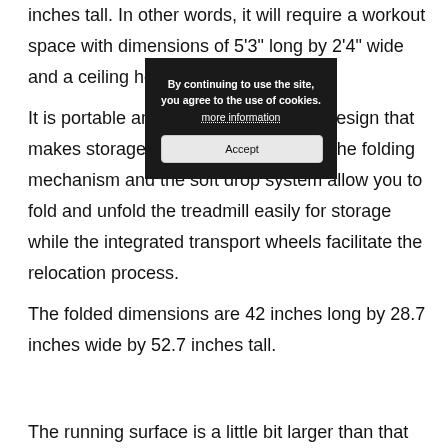inches tall. In other words, it will require a workout space with dimensions of 5'3" long by 2'4" wide and a ceiling height of at least 7' high.
It is portable and has a space-saving design that makes storage easy and convenient. The folding mechanism and the soft drop system allow you to fold and unfold the treadmill easily for storage while the integrated transport wheels facilitate the relocation process.
The folded dimensions are 42 inches long by 28.7 inches wide by 52.7 inches tall.
The running surface is a little bit larger than that